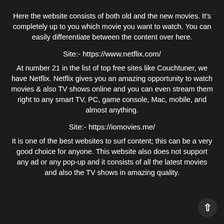Here the website consists of both old and the new movies. It's completely up to you which movie you want to watch. You can easily differentiate between the content over here.
Site:- https://www.netflix.com/
At number 21 in the list of top free sites like Couchtuner, we have Netflix. Netflix gives you an amazing opportunity to watch movies & also TV shows online and you can even stream them right to any smart TV, PC, game console, Mac, mobile, and almost anything.
Site:- https://iomovies.me/
It is one of the best websites to surf content; this can be a very good choice for anyone. This website also does not support any ad or any pop-up and it consists of all the latest movies and also the TV shows in amazing quality.